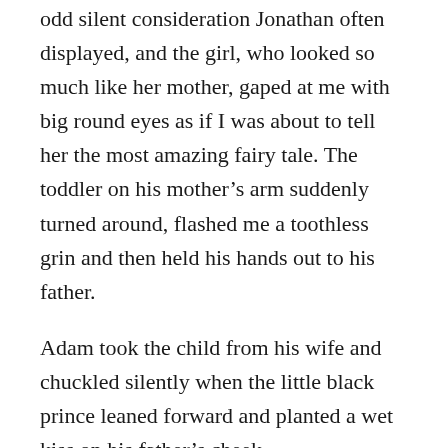odd silent consideration Jonathan often displayed, and the girl, who looked so much like her mother, gaped at me with big round eyes as if I was about to tell her the most amazing fairy tale. The toddler on his mother's arm suddenly turned around, flashed me a toothless grin and then held his hands out to his father.
Adam took the child from his wife and chuckled silently when the little black prince leaned forward and planted a wet kiss on his father's cheek.
To this day I don't know what made me do it, but I took a step back and said, “I’m sorry. I thought I knew you, but hearing your name is Adam, it can’t be. I apologise for causing confusion.”
I didn’t even wait for an answer but left the shop